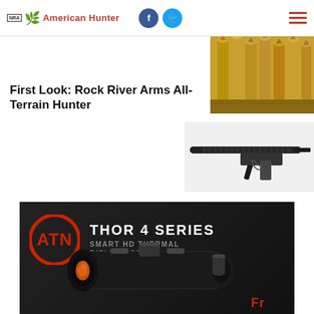NRA American Hunter
[Figure (photo): Close-up photo of brass bullet cartridges arranged together, copper tips visible]
First Look: Rock River Arms All-Terrain Hunter
[Figure (photo): Photo of Rock River Arms All-Terrain Hunter rifle, black tactical rifle with rail system]
[Figure (photo): ATN Thor 4 Series Smart HD Thermal Rifle Scope advertisement banner showing the scope product]